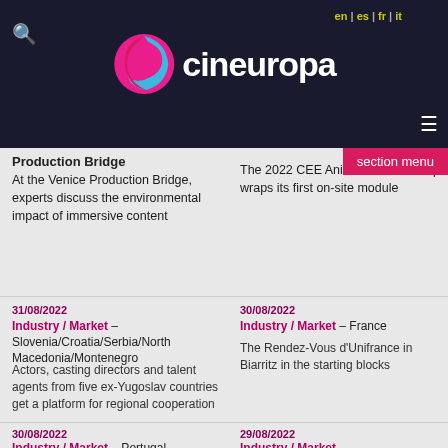cineuropa | en | es | fr | it
section menu
Production Bridge
At the Venice Production Bridge, experts discuss the environmental impact of immersive content
The 2022 CEE Animation Workshop wraps its first on-site module
31/08/2022
Industry / Market – Slovenia/Croatia/Serbia/North Macedonia/Montenegro
Actors, casting directors and talent agents from five ex-Yugoslav countries get a platform for regional cooperation
30/08/2022
Industry / Market – France
The Rendez-Vous d'Unifrance in Biarritz in the starting blocks
30/08/2022
Industry / Market – Portugal
This year's Doc's Kingdom
29/08/2022
Industry / Market – Sweden/Belgium/Norway
EXCLUSIVE M...